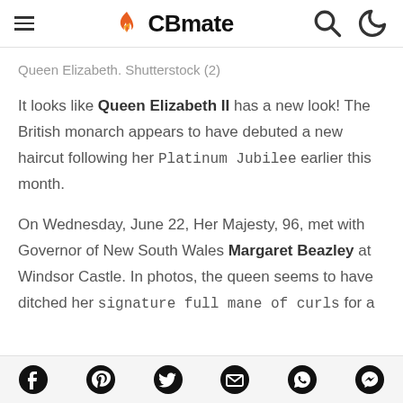CBmate
Queen Elizabeth. Shutterstock (2)
It looks like Queen Elizabeth II has a new look! The British monarch appears to have debuted a new haircut following her Platinum Jubilee earlier this month.
On Wednesday, June 22, Her Majesty, 96, met with Governor of New South Wales Margaret Beazley at Windsor Castle. In photos, the queen seems to have ditched her signature full mane of curls for a
Social share icons: Facebook, Pinterest, Twitter, Email, WhatsApp, Messenger